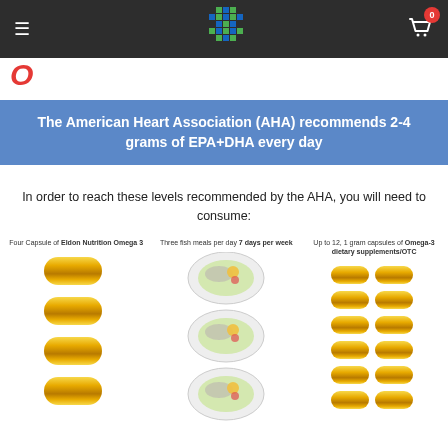Navigation bar with menu icon, logo, and cart (0 items)
The American Heart Association (AHA) recommends 2-4 grams of EPA+DHA every day
In order to reach these levels recommended by the AHA, you will need to consume:
Four Capsule of Eldon Nutrition Omega 3
Three fish meals per day 7 days per week
Up to 12, 1 gram capsules of Omega-3 dietary supplements/OTC
[Figure (illustration): Four yellow omega-3 fish oil capsules stacked vertically representing Eldon Nutrition Omega 3 dosage]
[Figure (illustration): Three fish meal plates stacked vertically representing three fish meals per day 7 days per week]
[Figure (illustration): Twelve yellow omega-3 capsules in two columns of six representing up to 12 OTC 1 gram capsules]